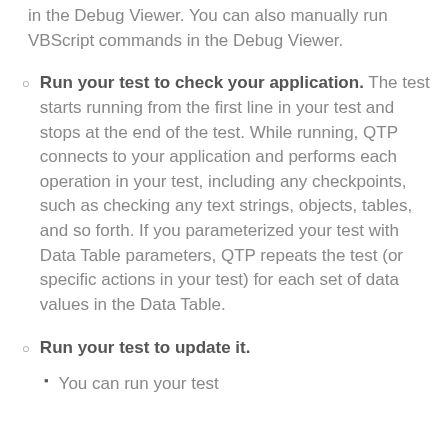in the Debug Viewer. You can also manually run VBScript commands in the Debug Viewer.
Run your test to check your application. The test starts running from the first line in your test and stops at the end of the test. While running, QTP connects to your application and performs each operation in your test, including any checkpoints, such as checking any text strings, objects, tables, and so forth. If you parameterized your test with Data Table parameters, QTP repeats the test (or specific actions in your test) for each set of data values in the Data Table.
Run your test to update it.
You can run your test